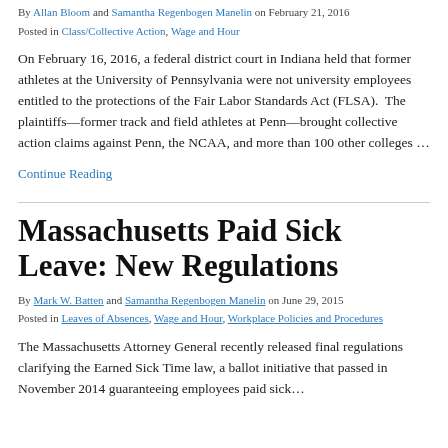By Allan Bloom and Samantha Regenbogen Manelin on February 21, 2016
Posted in Class/Collective Action, Wage and Hour
On February 16, 2016, a federal district court in Indiana held that former athletes at the University of Pennsylvania were not university employees entitled to the protections of the Fair Labor Standards Act (FLSA). The plaintiffs—former track and field athletes at Penn—brought collective action claims against Penn, the NCAA, and more than 100 other colleges …
Continue Reading
Massachusetts Paid Sick Leave: New Regulations
By Mark W. Batten and Samantha Regenbogen Manelin on June 29, 2015
Posted in Leaves of Absences, Wage and Hour, Workplace Policies and Procedures
The Massachusetts Attorney General recently released final regulations clarifying the Earned Sick Time law, a ballot initiative that passed in November 2014 guaranteeing employees paid sick…